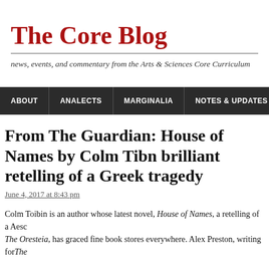The Core Blog
news, events, and commentary from the Arts & Sciences Core Curriculum
ABOUT | ANALECTS | MARGINALIA | NOTES & UPDATES FROM
From The Guardian: House of Names by Colm Tibn brilliant retelling of a Greek tragedy
June 4, 2017 at 8:43 pm
Colm Toibin is an author whose latest novel, House of Names, a retelling of a Aeschylus' The Oresteia, has graced fine book stores everywhere. Alex Preston, writing for The